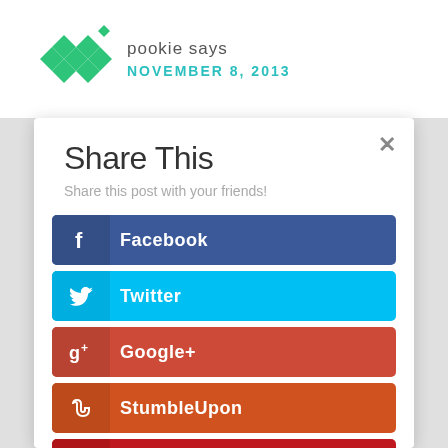pookie says NOVEMBER 8, 2013
Share This
Share this post with your friends!
Facebook
Twitter
Google+
StumbleUpon
Pinterest
Gmail